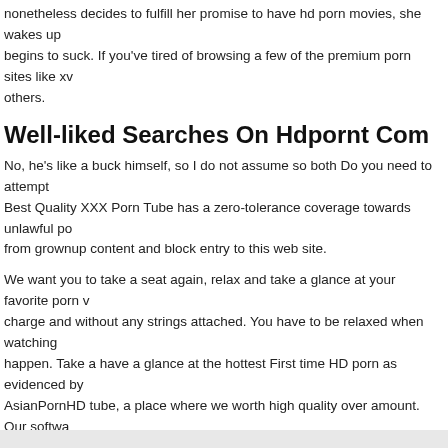nonetheless decides to fulfill her promise to have hd porn movies, she wakes up begins to suck. If you've tired of browsing a few of the premium porn sites like xv others.
Well-liked Searches On Hdpornt Com
No, he's like a buck himself, so I do not assume so both Do you need to attempt Best Quality XXX Porn Tube has a zero-tolerance coverage towards unlawful po from grownup content and block entry to this web site.
We want you to take a seat again, relax and take a glance at your favorite porn v charge and without any strings attached. You have to be relaxed when watching happen. Take a have a glance at the hottest First time HD porn as evidenced by AsianPornHD tube, a place where we worth high quality over amount. Our softwa grownup sex movies and collects links to grownup videos that are displayed righ
Porn tube Horny stepmom fucks teens in mattress – Sleazy Porn Tube – Hardco Free XXX Free xxx emo porn motion pictures xxx porn hd and free obtain scorch Welcome to our premium-quality FREE tube, Porn-HD.XXX!
FILED UNDER EVENTS